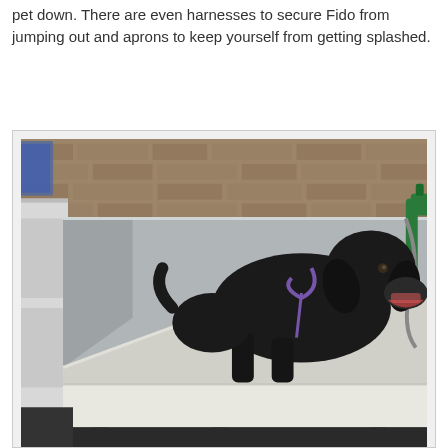pet down. There are even harnesses to secure Fido from jumping out and aprons to keep yourself from getting splashed.
[Figure (photo): A black Labrador dog standing inside a stainless steel dog bathing tub/station. The tub has a lowered front entry ramp, metal walls, and a grooming hose/sprayer attached to the right side. The dog is harnessed with a purple leash. The background shows a brick wall and a white cabinet on the left.]